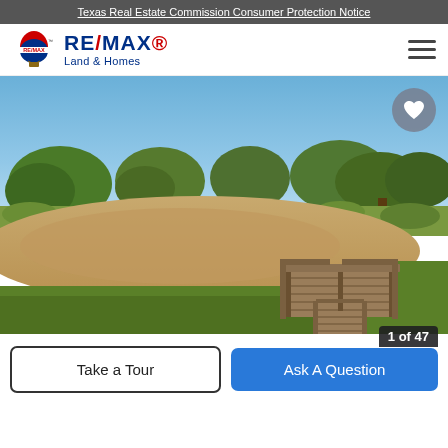Texas Real Estate Commission Consumer Protection Notice
[Figure (logo): RE/MAX Land & Homes logo with hot air balloon icon]
[Figure (photo): Outdoor landscape photo showing a wooden dock/pier over a muddy pond, green grass, trees, and blue sky]
Take a Tour
Ask A Question
1 of 47